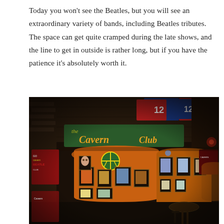Today you won't see the Beatles, but you will see an extraordinary variety of bands, including Beatles tributes. The space can get quite cramped during the late shows, and the line to get in outside is rather long, but if you have the patience it's absolutely worth it.
[Figure (photo): Interior of the Cavern Club in Liverpool showing brick arched walls, orange-lit alcoves with framed memorabilia and posters, a large 'the Cavern Club' sign on the ceiling, and sports jerseys hanging above.]